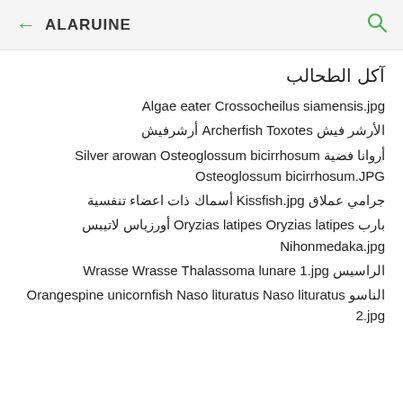← ALARUINE 🔍
آكل الطحالب
Algae eater Crossocheilus siamensis.jpg
الأرشر فيش Archerfish Toxotes أرشرفيش
أروانا فضية Silver arowan Osteoglossum bicirrhosum Osteoglossum bicirrhosum.JPG
جرامي عملاق Kissfish.jpg أسماك ذات اعضاء تنفسية
بارب Oryzias latipes Oryzias latipes أورزياس لاتيبس Nihonmedaka.jpg
الراسيس Wrasse Wrasse Thalassoma lunare 1.jpg
الناسو Orangespine unicornfish Naso lituratus Naso lituratus 2.jpg